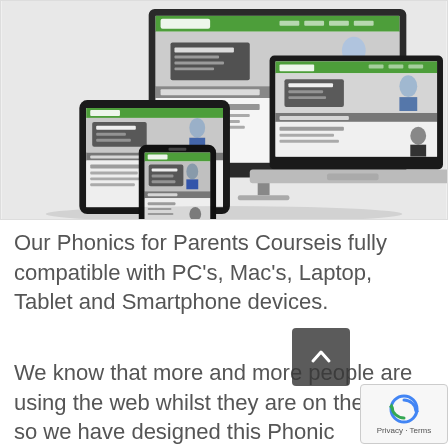[Figure (screenshot): Composite screenshot showing a website (Phonics/Online Courses) displayed across multiple devices: a desktop monitor, a laptop, a tablet, and a smartphone, demonstrating responsive/cross-device compatibility.]
Our Phonics for Parents Courseis fully compatible with PC's, Mac's, Laptop, Tablet and Smartphone devices.
We know that more and more people are using the web whilst they are on the move, so we have designed this Phonics for Parents Course to be fully compatible